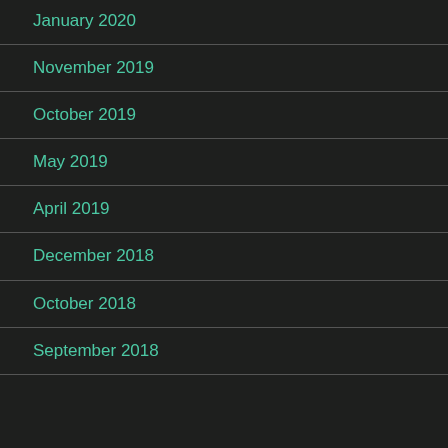January 2020
November 2019
October 2019
May 2019
April 2019
December 2018
October 2018
September 2018